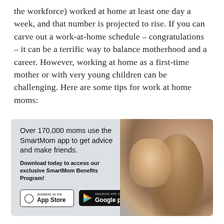the workforce) worked at home at least one day a week, and that number is projected to rise. If you can carve out a work-at-home schedule – congratulations – it can be a terrific way to balance motherhood and a career. However, working at home as a first-time mother or with very young children can be challenging. Here are some tips for work at home moms:
[Figure (infographic): SmartMom app advertisement banner. Text: 'Over 170,000 moms use the SmartMom app to get advice and make friends.' Bold subtext: 'Download today to access our exclusive SmartMom Benefits Program!' App Store and Google Play download buttons shown. Photo of a mother and baby on right side.]